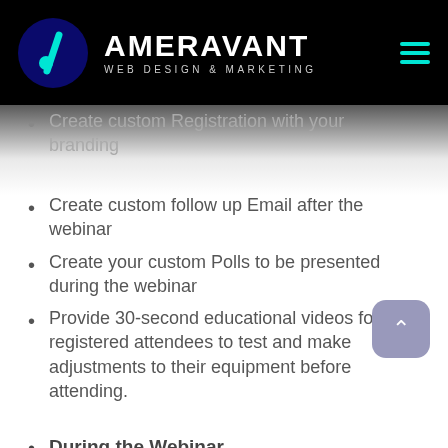AMERAVANT WEB DESIGN & MARKETING
Create custom Registration with your branding
Create custom follow up Email after the webinar
Create your custom Polls to be presented during the webinar
Provide 30-second educational videos for all registered attendees to test and make adjustments to their equipment before attending.
During the Webinar